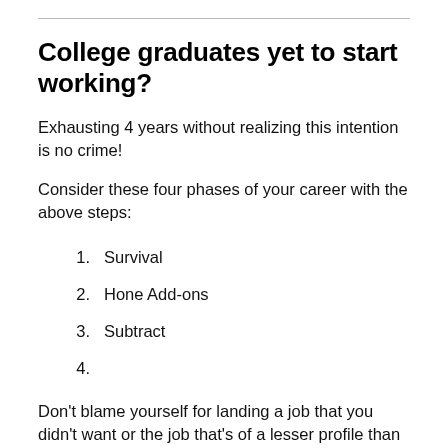College graduates yet to start working?
Exhausting 4 years without realizing this intention is no crime!
Consider these four phases of your career with the above steps:
1. Survival
2. Hone Add-ons
3. Subtract
4.
Don't blame yourself for landing a job that you didn't want or the job that's of a lesser profile than what you